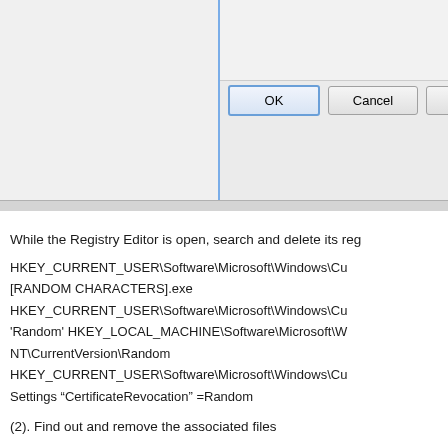[Figure (screenshot): Windows dialog box partially visible showing OK, Cancel, and Browse (Bro...) buttons on a gray background]
While the Registry Editor is open, search and delete its reg
HKEY_CURRENT_USER\Software\Microsoft\Windows\Cu [RANDOM CHARACTERS].exe HKEY_CURRENT_USER\Software\Microsoft\Windows\Cu 'Random' HKEY_LOCAL_MACHINE\Software\Microsoft\W NT\CurrentVersion\Random HKEY_CURRENT_USER\Software\Microsoft\Windows\Cu Settings "CertificateRevocation" =Random
(2). Find out and remove the associated files
%AllUsersProfile%\random.exe %AppData%\Roaming\Microsoft\Windows\Templates\ran %AllUsersProfile%\Application_Data\random %AllUserP